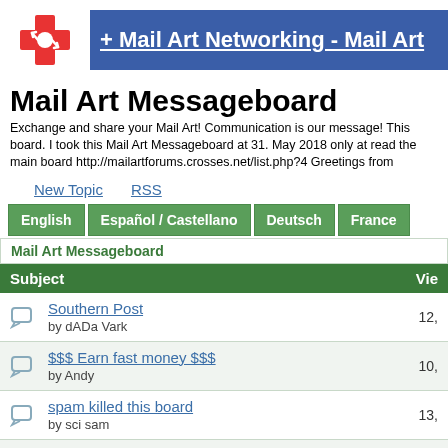+ Mail Art Networking - Mail Art
Mail Art Messageboard
Exchange and share your Mail Art! Communication is our message! This board. I took this Mail Art Messageboard at 31. May 2018 only at read the main board http://mailartforums.crosses.net/list.php?4 Greetings from
New Topic
RSS
| English | Español / Castellano | Deutsch | France |
| --- | --- | --- | --- |
Mail Art Messageboard
| Subject | Vie |
| --- | --- |
| Southern Post
by dADa Vark | 12, |
| $$$ Earn fast money $$$
by Andy | 10, |
| spam killed this board
by sci sam | 13, |